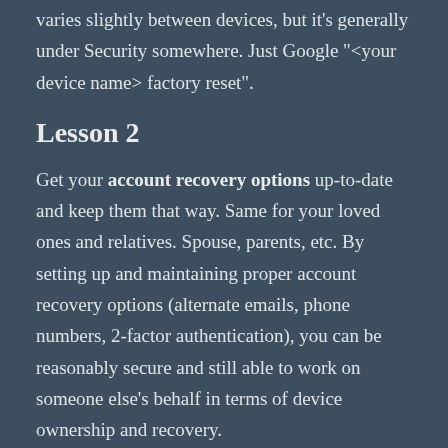varies slightly between devices, but it's generally under Security somewhere. Just Google "<your device name> factory reset".
Lesson 2
Get your account recovery options up-to-date and keep them that way. Same for your loved ones and relatives. Spouse, parents, etc. By setting up and maintaining proper account recovery options (alternate emails, phone numbers, 2-factor authentication), you can be reasonably secure and still able to work on someone else's behalf in terms of device ownership and recovery.
If you’re not sure what I mean, drop me a line on Facebook, Twitter, or right here in the comments.